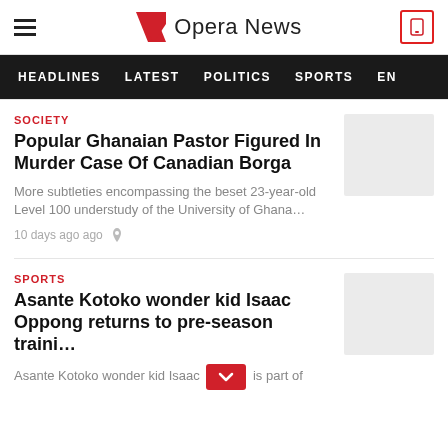Opera News
HEADLINES  LATEST  POLITICS  SPORTS  EN
SOCIETY
Popular Ghanaian Pastor Figured In Murder Case Of Canadian Borga
More subtleties encompassing the beset 23-year-old Level 100 understudy of the University of Ghana…
10 days ago ago
SPORTS
Asante Kotoko wonder kid Isaac Oppong returns to pre-season traini…
Asante Kotoko wonder kid Isaac is part of